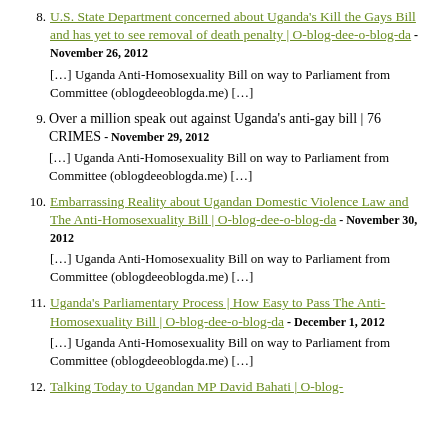8. U.S. State Department concerned about Uganda's Kill the Gays Bill and has yet to see removal of death penalty | O-blog-dee-o-blog-da - November 26, 2012
[…] Uganda Anti-Homosexuality Bill on way to Parliament from Committee (oblogdeeoblogda.me) […]
9. Over a million speak out against Uganda's anti-gay bill | 76 CRIMES - November 29, 2012
[…] Uganda Anti-Homosexuality Bill on way to Parliament from Committee (oblogdeeoblogda.me) […]
10. Embarrassing Reality about Ugandan Domestic Violence Law and The Anti-Homosexuality Bill | O-blog-dee-o-blog-da - November 30, 2012
[…] Uganda Anti-Homosexuality Bill on way to Parliament from Committee (oblogdeeoblogda.me) […]
11. Uganda's Parliamentary Process | How Easy to Pass The Anti-Homosexuality Bill | O-blog-dee-o-blog-da - December 1, 2012
[…] Uganda Anti-Homosexuality Bill on way to Parliament from Committee (oblogdeeoblogda.me) […]
12. Talking Today to Ugandan MP David Bahati | O-blog-